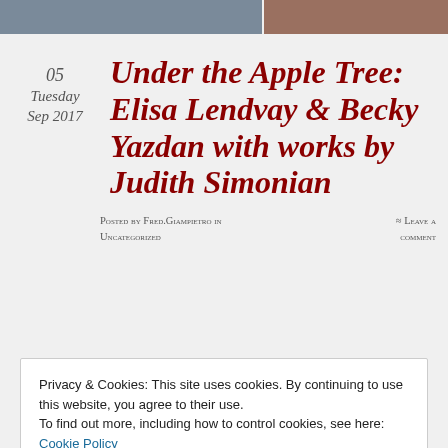[Figure (photo): Two cropped photo strips at the top of the page: left shows a group of people, right shows a person.]
05
Tuesday
Sep 2017
Under the Apple Tree: Elisa Lendvay & Becky Yazdan with works by Judith Simonian
Posted by Fred.Giampietro in Uncategorized
≈ Leave a comment
Privacy & Cookies: This site uses cookies. By continuing to use this website, you agree to their use.
To find out more, including how to control cookies, see here: Cookie Policy
Close and accept